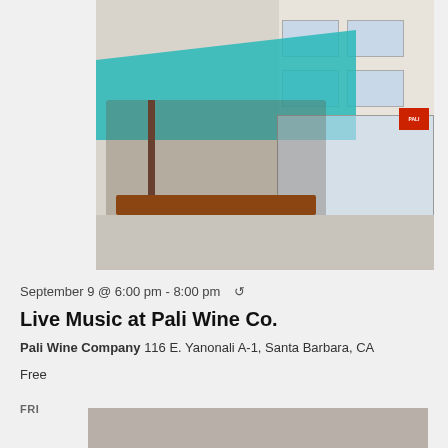[Figure (photo): Outdoor patio of Pali Wine Co. with people seated and standing under a teal shade canopy, wooden benches, string lights, and storefront windows]
September 9 @ 6:00 pm - 8:00 pm ↺
Live Music at Pali Wine Co.
Pali Wine Company 116 E. Yanonali A-1, Santa Barbara, CA
Free
FRI
[Figure (photo): Partial view of another event venue photo at the bottom of the page]